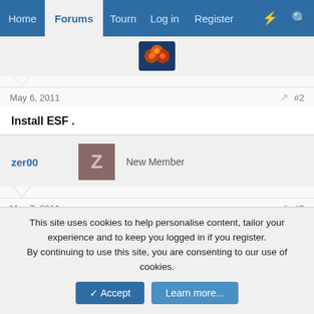Home | Forums | Tourn | Log in | Register
[Figure (screenshot): Forum website logo/avatar image with orange circular shapes on blue background]
May 6, 2011   #2
Install ESF .
zer00   New Member
May 7, 2011   #3
Flink_Power said:
Install ESF .
This site uses cookies to help personalise content, tailor your experience and to keep you logged in if you register.
By continuing to use this site, you are consenting to our use of cookies.